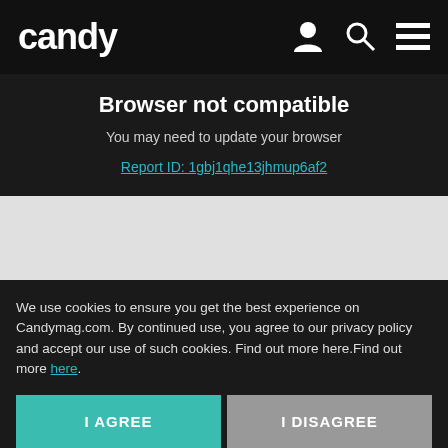candy
Browser not compatible
You may need to update your browser
Report ID: 1gbj1qhe13jhmup6af2
[Figure (screenshot): Gray empty content area placeholder]
Read on App
How to Apply to NU
We use cookies to ensure you get the best experience on Candymag.com. By continued use, you agree to our privacy policy and accept our use of such cookies. Find out more here.Find out more here.
I AGREE
I DISAGREE